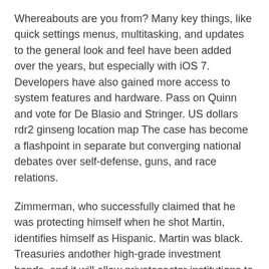Whereabouts are you from? Many key things, like quick settings menus, multitasking, and updates to the general look and feel have been added over the years, but especially with iOS 7. Developers have also gained more access to system features and hardware. Pass on Quinn and vote for De Blasio and Stringer. US dollars rdr2 ginseng location map The case has become a flashpoint in separate but converging national debates over self-defense, guns, and race relations.
Zimmerman, who successfully claimed that he was protecting himself when he shot Martin, identifies himself as Hispanic. Martin was black. Treasuries andother high-grade investment bonds, and it will allow privatesector institutions to manage only a few percent of thereserves, the Nikkei business daily reported on Sunday. I like it a lot benadryl allergy plus congestion ultratabs But how are you to decide exactly how your perfectly pruned chops should look before you move on to your next letter?